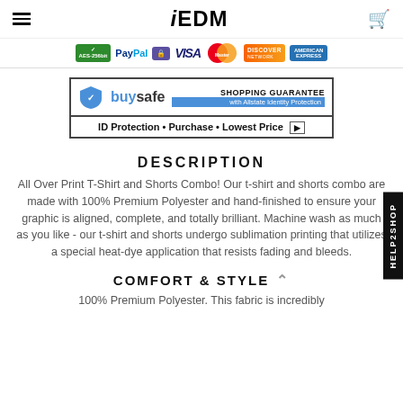iEDM
[Figure (logo): Payment method logos: AES-256bit, PayPal, secure lock, VISA, MasterCard, Discover, American Express]
[Figure (infographic): BuySafe Shopping Guarantee banner with Allstate Identity Protection. ID Protection • Purchase • Lowest Price]
DESCRIPTION
All Over Print T-Shirt and Shorts Combo! Our t-shirt and shorts combo are made with 100% Premium Polyester and hand-finished to ensure your graphic is aligned, complete, and totally brilliant. Machine wash as much as you like - our t-shirt and shorts undergo sublimation printing that utilizes a special heat-dye application that resists fading and bleeds.
COMFORT & STYLE
100% Premium Polyester. This fabric is incredibly